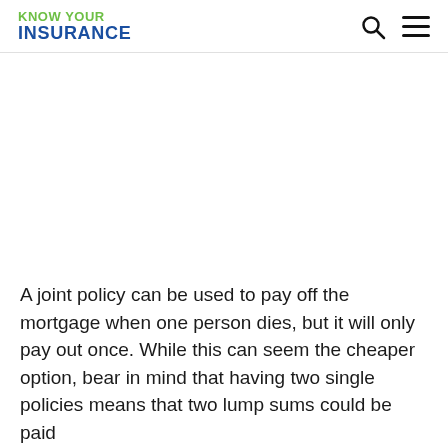KNOW YOUR INSURANCE
A joint policy can be used to pay off the mortgage when one person dies, but it will only pay out once. While this can seem the cheaper option, bear in mind that having two single policies means that two lump sums could be paid